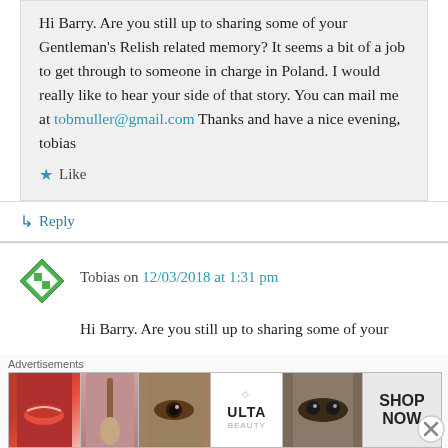Hi Barry. Are you still up to sharing some of your Gentleman’s Relish related memory? It seems a bit of a job to get through to someone in charge in Poland. I would really like to hear your side of that story. You can mail me at tobmuller@gmail.com Thanks and have a nice evening, tobias
★ Like
↳ Reply
Tobias on 12/03/2018 at 1:31 pm
Hi Barry. Are you still up to sharing some of your